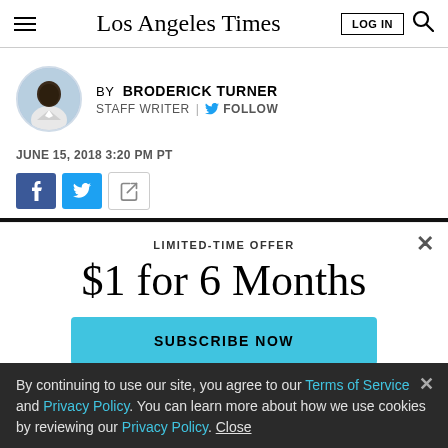Los Angeles Times
BY BRODERICK TURNER
STAFF WRITER | FOLLOW
JUNE 15, 2018 3:20 PM PT
[Figure (screenshot): Social share buttons: Facebook, Twitter, and a share/forward icon]
LIMITED-TIME OFFER
$1 for 6 Months
SUBSCRIBE NOW
By continuing to use our site, you agree to our Terms of Service and Privacy Policy. You can learn more about how we use cookies by reviewing our Privacy Policy. Close